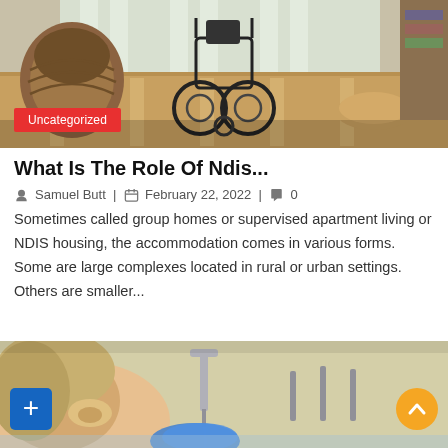[Figure (photo): Wheelchair visible from behind on a wooden floor interior room with wicker furniture and cushion]
Uncategorized
What Is The Role Of Ndis...
Samuel Butt | February 22, 2022 | 0
Sometimes called group homes or supervised apartment living or NDIS housing, the accommodation comes in various forms. Some are large complexes located in rural or urban settings. Others are smaller...
[Figure (photo): Child near a bathroom sink with blue sponge or gloves, water running from tap]